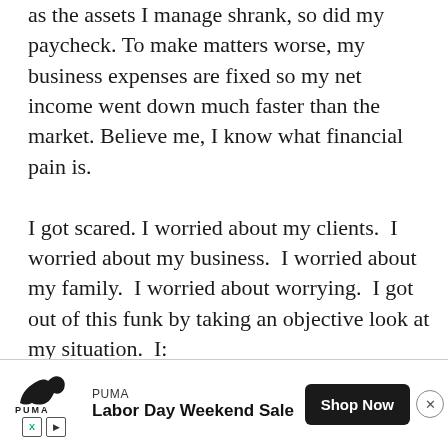as the assets I manage shrank, so did my paycheck. To make matters worse, my business expenses are fixed so my net income went down much faster than the market. Believe me, I know what financial pain is. I got scared. I worried about my clients.  I worried about my business.  I worried about my family.  I worried about worrying.  I got out of this funk by taking an objective look at my situation.  I:
[Figure (other): Advertisement banner for PUMA Labor Day Weekend Sale with Shop Now button and close (X) button. Contains PUMA logo, brand name, sale text, and ad choice icons.]